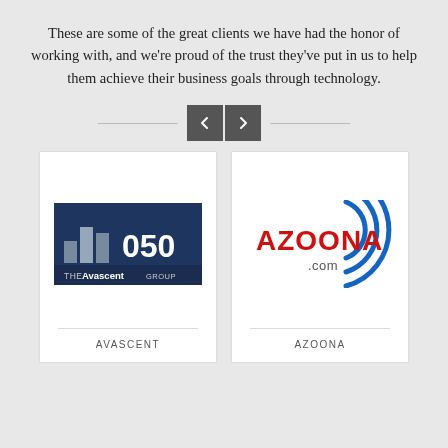These are some of the great clients we have had the honor of working with, and we're proud of the trust they've put in us to help them achieve their business goals through technology.
[Figure (logo): Navigation arrows (left and right) between two horizontal lines]
[Figure (logo): The Avascent Group logo — dark navy rectangle with bar chart icon and '050' text, with 'THE Avascent GROUP' text below]
AVASCENT
[Figure (logo): Azoona.com logo — red bold 'AZOONA' text with blue circular wifi-like arc symbol and '.com' below]
AZOONA